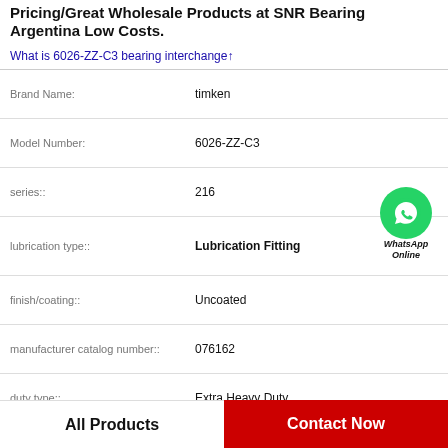Pricing/Great Wholesale Products at SNR Bearing Argentina Low Costs.
What is 6026-ZZ-C3 bearing interchange↑
| Property | Value |
| --- | --- |
| Brand Name: | timken |
| Model Number: | 6026-ZZ-C3 |
| series:: | 216 |
| lubrication type:: | Lubrication Fitting |
| finish/coating:: | Uncoated |
| manufacturer catalog number:: | 076162 |
| duty type:: | Extra Heavy Duty |
| radial dynamic load capacity:: | 17407 lb |
[Figure (logo): WhatsApp Online green circle logo with phone icon and text WhatsApp Online]
All Products
Contact Now